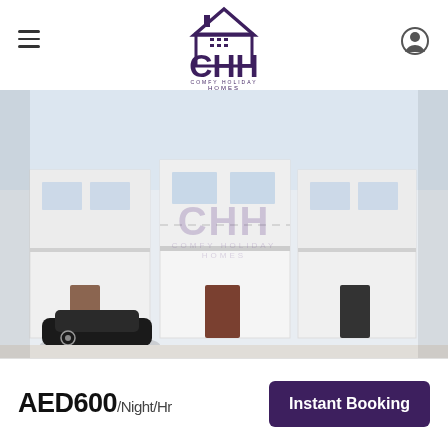[Figure (logo): CHH Comfy Holiday Homes logo with house icon above CHH letters and tagline COMFY HOLIDAY HOMES below]
[Figure (photo): Exterior photo of modern white two-storey townhouse with parking area and cars, CHH watermark overlaid in center]
AED600/Night/Hr
Instant Booking